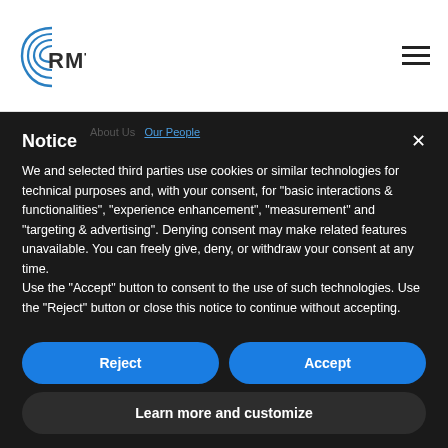[Figure (logo): RMT logo with blue arc lines and RMT text in dark gray]
RMT navigation bar with hamburger menu icon
Notice
We and selected third parties use cookies or similar technologies for technical purposes and, with your consent, for "basic interactions & functionalities", "experience enhancement", "measurement" and "targeting & advertising". Denying consent may make related features unavailable. You can freely give, deny, or withdraw your consent at any time.
Use the "Accept" button to consent to the use of such technologies. Use the "Reject" button or close this notice to continue without accepting.
Reject
Accept
Learn more and customize